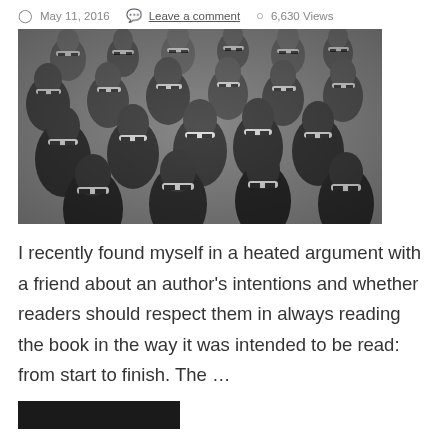May 11, 2016  Leave a comment  6,630 Views
[Figure (photo): Black and white photograph of a large crowd of people wearing 3D glasses, seated in rows, looking upward.]
I recently found myself in a heated argument with a friend about an author's intentions and whether readers should respect them in always reading the book in the way it was intended to be read: from start to finish. The …
[Figure (other): Dark/black button or banner at the bottom of the page (partially visible).]